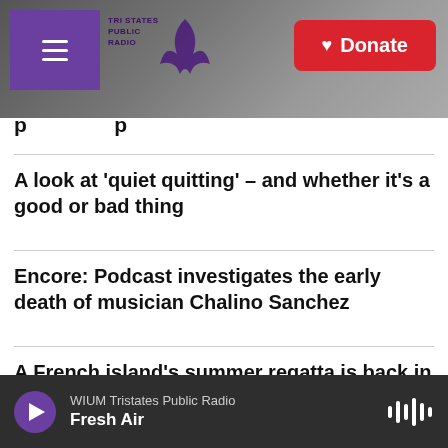[Figure (screenshot): Tri States Public Radio website header with purple hamburger menu, logo, gray sky background with radio tower, and red Donate button]
A look at 'quiet quitting' – and whether it's a good or bad thing
Encore: Podcast investigates the early death of musician Chalino Sanchez
A French island's summer regatta is back in full this year
WIUM Tristates Public Radio – Fresh Air